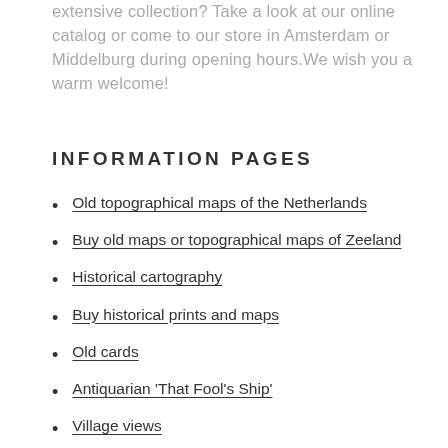extensive collection? Take a look at our online catalog or come to our store in Amsterdam or Middelburg during opening hours.We wish you a warm welcome!
INFORMATION PAGES
Old topographical maps of the Netherlands
Buy old maps or topographical maps of Zeeland
Historical cartography
Buy historical prints and maps
Old cards
Antiquarian 'That Fool's Ship'
Village views
Old atlases and old topographical maps
World map old